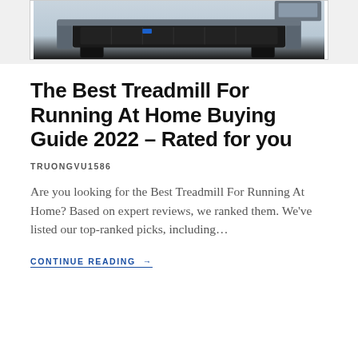[Figure (photo): Bottom portion of a treadmill, showing black frame, gray rails, and belt, photographed from above at an angle against a white background.]
The Best Treadmill For Running At Home Buying Guide 2022 – Rated for you
TRUONGVU1586
Are you looking for the Best Treadmill For Running At Home? Based on expert reviews, we ranked them. We’ve listed our top-ranked picks, including…
CONTINUE READING →